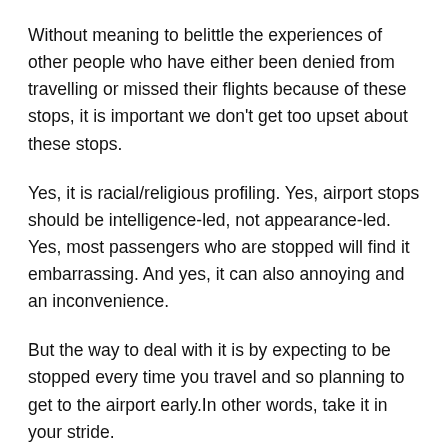Without meaning to belittle the experiences of other people who have either been denied from travelling or missed their flights because of these stops, it is important we don't get too upset about these stops.
Yes, it is racial/religious profiling. Yes, airport stops should be intelligence-led, not appearance-led. Yes, most passengers who are stopped will find it embarrassing. And yes, it can also annoying and an inconvenience.
But the way to deal with it is by expecting to be stopped every time you travel and so planning to get to the airport early.In other words, take it in your stride.
That way you won't be disappointed when you do not